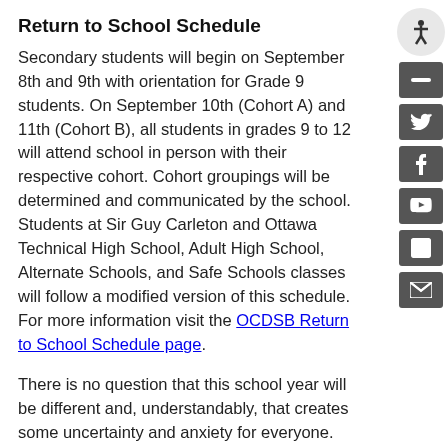Return to School Schedule
Secondary students will begin on September 8th and 9th with orientation for Grade 9 students. On September 10th (Cohort A) and 11th (Cohort B), all students in grades 9 to 12 will attend school in person with their respective cohort. Cohort groupings will be determined and communicated by the school. Students at Sir Guy Carleton and Ottawa Technical High School, Adult High School, Alternate Schools, and Safe Schools classes will follow a modified version of this schedule. For more information visit the OCDSB Return to School Schedule page.
There is no question that this school year will be different and, understandably, that creates some uncertainty and anxiety for everyone. However, our